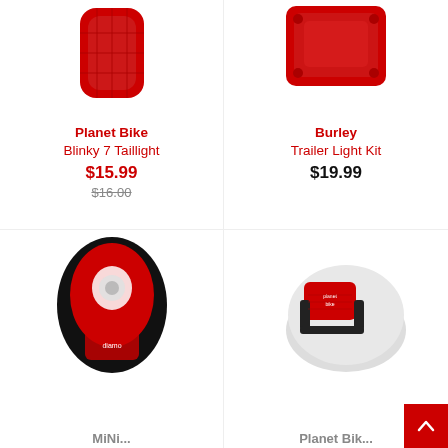[Figure (photo): Planet Bike Blinky 7 Taillight product photo - red taillight from above]
Planet Bike
Blinky 7 Taillight
$15.99
$16.00 (strikethrough)
[Figure (photo): Burley Trailer Light Kit product photo - red trailer light from above]
Burley
Trailer Light Kit
$19.99
[Figure (photo): Bike taillight product photo - black and red oval taillight]
MiNi...
[Figure (photo): Planet Bike helmet light product photo - red light clipped to white helmet]
Planet Bik...